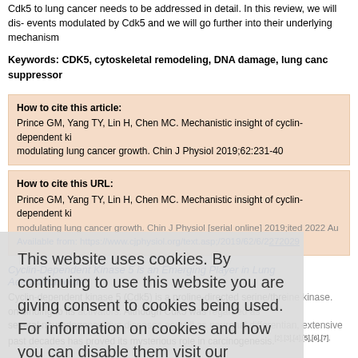Cdk5 to lung cancer needs to be addressed in detail. In this review, we will discuss the events modulated by Cdk5 and we will go further into their underlying mechanisms.
Keywords: CDK5, cytoskeletal remodeling, DNA damage, lung cancer, tumor suppressor
| How to cite this article: | Prince GM, Yang TY, Lin H, Chen MC. Mechanistic insight of cyclin-dependent kinase 5 modulating lung cancer growth. Chin J Physiol 2019;62:231-40 |
| How to cite this URL: | Prince GM, Yang TY, Lin H, Chen MC. Mechanistic insight of cyclin-dependent kinase 5 modulating lung cancer growth. Chin J Physiol [serial online] 2019;[cited 2022 Au Available from: https://www.cjphysiol.org/text.asp;22019/62/6/231/272029 |
Cyclin-Dependent Kinase 5 is an Emerging Player in Lung Adenocarcinoma
Cyclin-dependent kinase 5 (Cdk5) is a proline-directed serine/threonine kinase. It depends on binding to its specific activators. Although Cdk5 was regarded as a key player in several neurodegenerative diseases as well as neuronal differentiation, extensive research past decades has proved its mysterious role in carcinogenesis.[2],[3],[4],[5],[6],[7].
This website uses cookies. By continuing to use this website you are giving consent to cookies being used. For information on cookies and how you can disable them visit our
Privacy and Cookie Policy.
AGREE & PROCEED